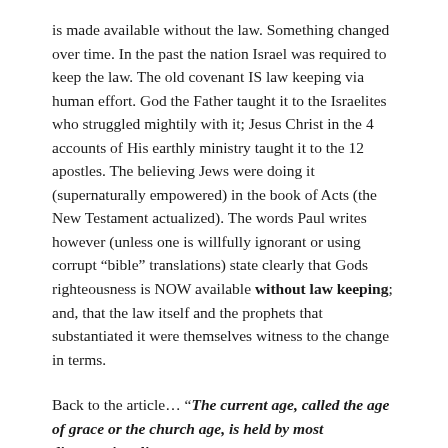is made available without the law. Something changed over time. In the past the nation Israel was required to keep the law. The old covenant IS law keeping via human effort. God the Father taught it to the Israelites who struggled mightily with it; Jesus Christ in the 4 accounts of His earthly ministry taught it to the 12 apostles. The believing Jews were doing it (supernaturally empowered) in the book of Acts (the New Testament actualized). The words Paul writes however (unless one is willfully ignorant or using corrupt “bible” translations) state clearly that Gods righteousness is NOW available without law keeping; and, that the law itself and the prophets that substantiated it were themselves witness to the change in terms.
Back to the article… “The current age, called the age of grace or the church age, is held by most dispensationalists to